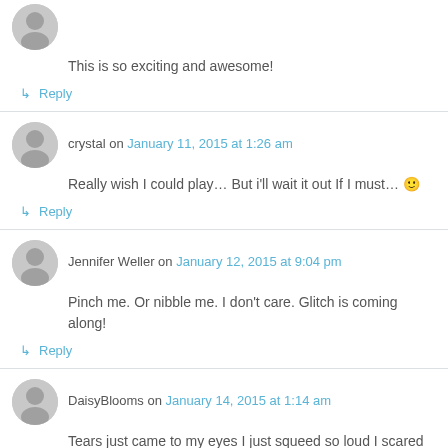This is so exciting and awesome!
↳ Reply
crystal on January 11, 2015 at 1:26 am
Really wish I could play… But i'll wait it out If I must… 🙂
↳ Reply
Jennifer Weller on January 12, 2015 at 9:04 pm
Pinch me. Or nibble me. I don't care. Glitch is coming along!
↳ Reply
DaisyBlooms on January 14, 2015 at 1:14 am
Tears just came to my eyes I just squeed so loud I scared my kitties. I. Am. So. Excited. Did I mention how excited I am? Well, I am. Excited, I mean.